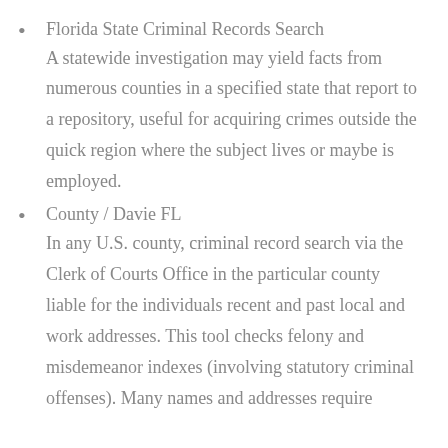Florida State Criminal Records Search
A statewide investigation may yield facts from numerous counties in a specified state that report to a repository, useful for acquiring crimes outside the quick region where the subject lives or maybe is employed.
County / Davie FL
In any U.S. county, criminal record search via the Clerk of Courts Office in the particular county liable for the individuals recent and past local and work addresses. This tool checks felony and misdemeanor indexes (involving statutory criminal offenses). Many names and addresses require